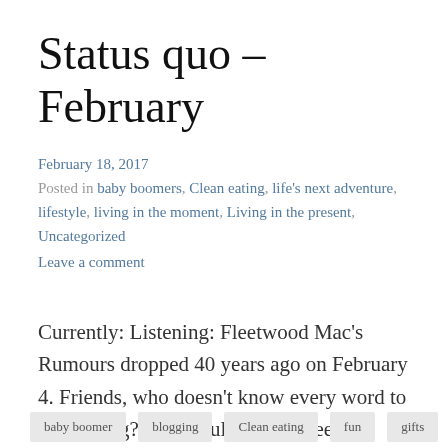Status quo – February
February 18, 2017
Posted in baby boomers, Clean eating, life's next adventure, lifestyle, living in the moment, Living in the present, Uncategorized
Leave a comment
Currently: Listening: Fleetwood Mac's Rumours dropped 40 years ago on February 4. Friends, who doesn't know every word to every song? How could it have been 40 years? I mean…
baby boomer   blogging   Clean eating   fun   gifts